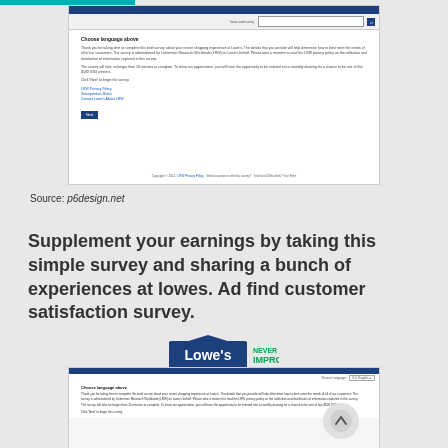[Figure (screenshot): Screenshot of a survey webpage with dark blue header bar, URL bar, text about taking a brief survey, privacy policy links, and a Next button]
Source: p6design.net
Supplement your earnings by taking this simple survey and sharing a bunch of experiences at lowes. Ad find customer satisfaction survey.
[Figure (logo): Lowe's logo with blue house shape and 'NEVER STOP IMPROVING' tagline in teal/green]
[Figure (screenshot): Screenshot of Lowe's survey page with language selector, Choose language above heading, and introductory survey text]